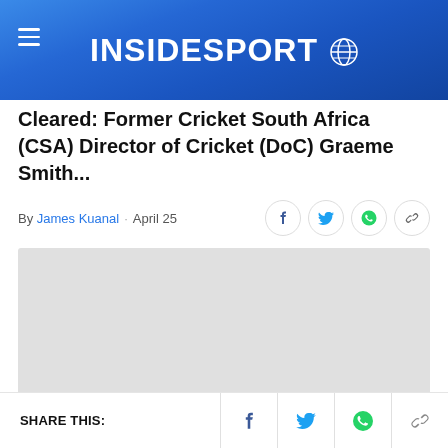INSIDESPORT
Cleared: Former Cricket South Africa (CSA) Director of Cricket (DoC) Graeme Smith...
By James Kuanal · April 25
[Figure (photo): Gray placeholder image area]
SHARE THIS: